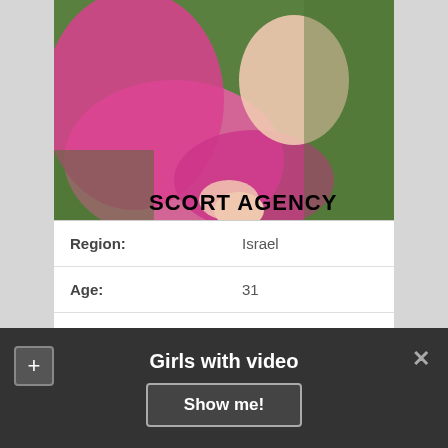[Figure (photo): Woman in pink clothing sitting on green grass background, with watermark text 'ESCORT AGENCY' overlaid at bottom right]
| Region: | Israel |
| Age: | 31 |
| Height: | 175 |
| WEIGHT: | 62 |
| Availability: | 10:00 – 20:00 |
Girls with video
Show me!